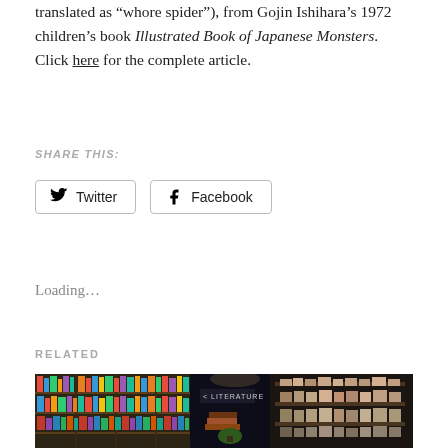translated as “whore spider”), from Gojin Ishihara’s 1972 children’s book Illustrated Book of Japanese Monsters. Click here for the complete article.
SHARE THIS:
Twitter  Facebook
Loading…
RELATED
[Figure (photo): Interior of a bookstore showing colorful bookshelves on the left and modern shelving displays on the right with a Literature section sign visible in the center.]